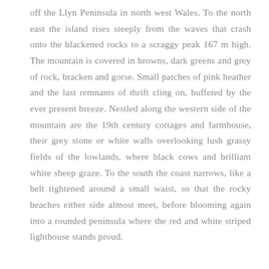off the Llyn Peninsula in north west Wales. To the north east the island rises steeply from the waves that crash onto the blackened rocks to a scraggy peak 167 m high. The mountain is covered in browns, dark greens and grey of rock, bracken and gorse. Small patches of pink heather and the last remnants of thrift cling on, buffeted by the ever present breeze. Nestled along the western side of the mountain are the 19th century cottages and farmhouse, their grey stone or white walls overlooking lush grassy fields of the lowlands, where black cows and brilliant white sheep graze. To the south the coast narrows, like a belt tightened around a small waist, so that the rocky beaches either side almost meet, before blooming again into a rounded peninsula where the red and white striped lighthouse stands proud.